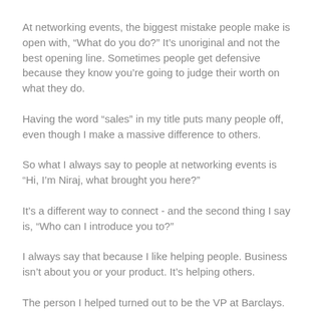At networking events, the biggest mistake people make is open with, “What do you do?” It’s unoriginal and not the best opening line. Sometimes people get defensive because they know you’re going to judge their worth on what they do.
Having the word “sales” in my title puts many people off, even though I make a massive difference to others.
So what I always say to people at networking events is “Hi, I’m Niraj, what brought you here?”
It’s a different way to connect - and the second thing I say is, “Who can I introduce you to?”
I always say that because I like helping people. Business isn’t about you or your product. It’s helping others.
The person I helped turned out to be the VP at Barclays.